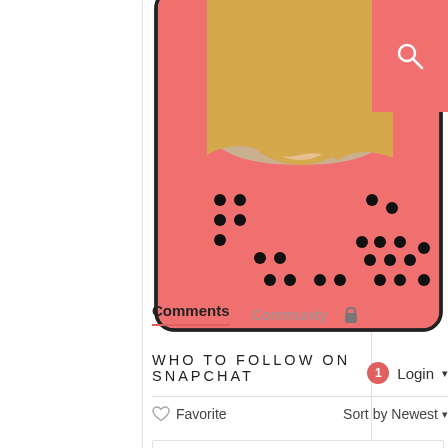[Figure (illustration): Snapchat-style profile card with pink/coral background featuring a person with blonde hair, decorated with black dots in a Braille-like pattern. The card has rounded corners and a wavy cut-out shape at the top.]
WHO TO FOLLOW ON SNAPCHAT
Comments  Community  🔒
1  Login ▾
♡ Favorite   Sort by Newest ▾